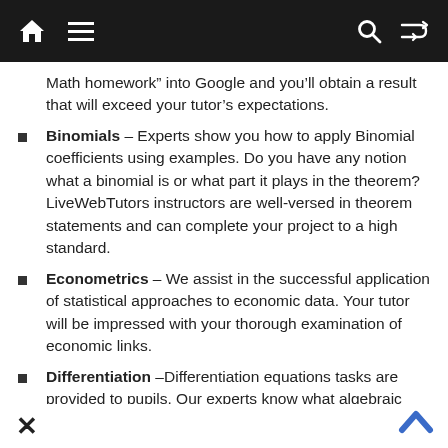Navigation bar with home, menu, search, and shuffle icons
Math homework” into Google and you’ll obtain a result that will exceed your tutor’s expectations.
Binomials – Experts show you how to apply Binomial coefficients using examples. Do you have any notion what a binomial is or what part it plays in the theorem? LiveWebTutors instructors are well-versed in theorem statements and can complete your project to a high standard.
Econometrics – We assist in the successful application of statistical approaches to economic data. Your tutor will be impressed with your thorough examination of economic links.
Differentiation –Differentiation equations tasks are provided to pupils. Our experts know what algebraic techniques to utilise to tackle assignments requiring the discovery of a